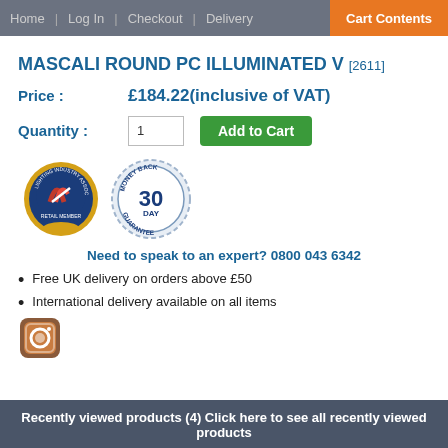Home | Log In | Checkout | Delivery | Cart Contents
MASCALI ROUND PC ILLUMINATED V [2611]
Price : £184.22(inclusive of VAT)
Quantity : 1  Add to Cart
[Figure (logo): Lighting Industry Association logo badge and 30 Day Money Back Guarantee badge]
Need to speak to an expert? 0800 043 6342
Free UK delivery on orders above £50
International delivery available on all items
[Figure (logo): Instagram icon/logo]
Recently viewed products (4) Click here to see all recently viewed products